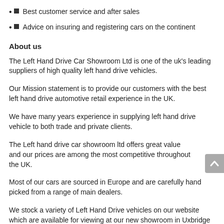Best customer service and after sales
Advice on insuring and registering cars on the continent
About us
The Left Hand Drive Car Showroom Ltd is one of the uk's leading suppliers of high quality left hand drive vehicles.
Our Mission statement is to provide our customers with the best left hand drive automotive retail experience in the UK.
We have many years experience in supplying left hand drive vehicle to both trade and private clients.
The Left hand drive car showroom ltd offers great value and our prices are among the most competitive throughout the UK.
Most of our cars are sourced in Europe and are carefully hand picked from a range of main dealers.
We stock a variety of Left Hand Drive vehicles on our website which are available for viewing at our new showroom in Uxbridge (Middlesex) near Heathrow/Uxbridge...